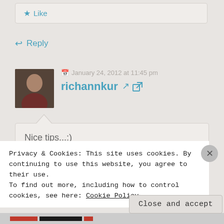[Figure (screenshot): Like button area in a blog comment section]
★ Like
↩ Reply
[Figure (photo): Avatar photo of user richannkur — woman in outdoor setting]
January 24, 2012 at 11:45 pm
richannkur ↗
Nice tips...:)
Privacy & Cookies: This site uses cookies. By continuing to use this website, you agree to their use.
To find out more, including how to control cookies, see here: Cookie Policy
Close and accept